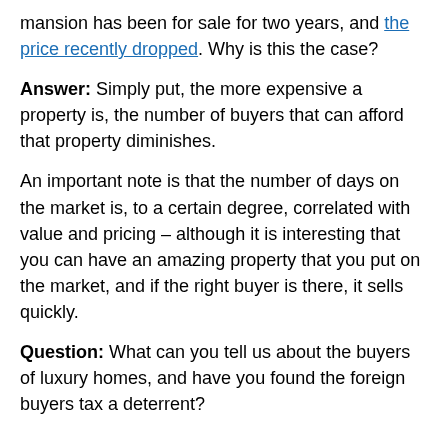mansion has been for sale for two years, and the price recently dropped. Why is this the case?
Answer: Simply put, the more expensive a property is, the number of buyers that can afford that property diminishes.
An important note is that the number of days on the market is, to a certain degree, correlated with value and pricing – although it is interesting that you can have an amazing property that you put on the market, and if the right buyer is there, it sells quickly.
Question: What can you tell us about the buyers of luxury homes, and have you found the foreign buyers tax a deterrent?